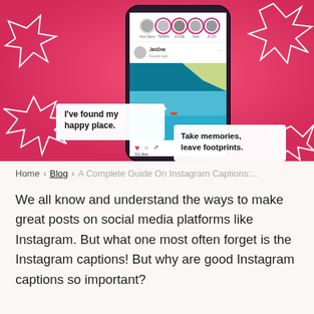[Figure (screenshot): Hero image showing a smartphone displaying an Instagram feed with stories and a beach photo post. The background is hot pink with white geometric star/arrow shapes in corners. Two white caption bubbles overlay the image: 'I've found my happy place.' on the left and 'Take memories, leave footprints.' on the right.]
Home > Blog > A Complete Guide On Instagram Captions:...
We all know and understand the ways to make great posts on social media platforms like Instagram. But what one most often forget is the Instagram captions! But why are good Instagram captions so important?